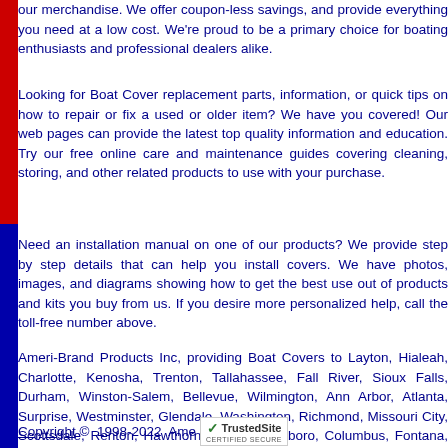our merchandise. We offer coupon-less savings, and provide everything you need at a low cost. We're proud to be a primary choice for boating enthusiasts and professional dealers alike.
Looking for Boat Cover replacement parts, information, or quick tips on how to repair or fix a used or older item? We have you covered! Our web pages can provide the latest top quality information and education. Try our free online care and maintenance guides covering cleaning, storing, and other related products to use with your purchase.
Need an installation manual on one of our products? We provide step by step details that can help you install covers. We have photos, images, and diagrams showing how to get the best use out of products and kits you buy from us. If you desire more personalized help, call the toll-free number above.
Ameri-Brand Products Inc, providing Boat Covers to Layton, Hialeah, Charlotte, Kenosha, Trenton, Tallahassee, Fall River, Sioux Falls, Durham, Winston-Salem, Bellevue, Wilmington, Ann Arbor, Atlanta, Surprise, Westminster, Glendale, Washington, Richmond, Missouri City, Scottsdale, Renton, Hawthorne, Davie, Hillsboro, Columbus, Fontana, Buena Park, New Rochelle, Warren, and Springfield with quality Boat Covers.
Copyright © 1998-2022 Ameri-Brand Products Inc [TrustedSite CERTIFIED SECURE]